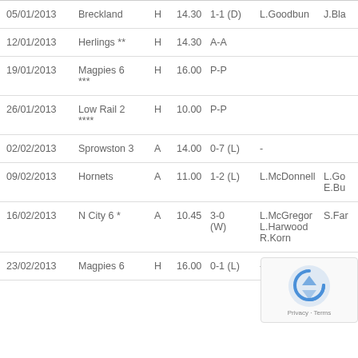| Date | Opponent | H/A | Time | Score | Player1 | Player2 |
| --- | --- | --- | --- | --- | --- | --- |
| 05/01/2013 | Breckland | H | 14.30 | 1-1 (D) | L.Goodbun | J.Bla |
| 12/01/2013 | Herlings ** | H | 14.30 | A-A |  |  |
| 19/01/2013 | Magpies 6 *** | H | 16.00 | P-P |  |  |
| 26/01/2013 | Low Rail 2 **** | H | 10.00 | P-P |  |  |
| 02/02/2013 | Sprowston 3 | A | 14.00 | 0-7 (L) | - |  |
| 09/02/2013 | Hornets | A | 11.00 | 1-2 (L) | L.McDonnell | L.Go E.Bu |
| 16/02/2013 | N City 6 * | A | 10.45 | 3-0 (W) | L.McGregor L.Harwood R.Korn | S.Far |
| 23/02/2013 | Magpies 6 | H | 16.00 | 0-1 (L) | - |  |